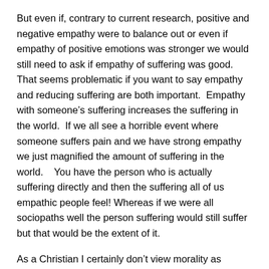But even if, contrary to current research, positive and negative empathy were to balance out or even if empathy of positive emotions was stronger we would still need to ask if empathy of suffering was good. That seems problematic if you want to say empathy and reducing suffering are both important. Empathy with someone's suffering increases the suffering in the world. If we all see a horrible event where someone suffers pain and we have strong empathy we just magnified the amount of suffering in the world.  You have the person who is actually suffering directly and then the suffering all of us empathic people feel! Whereas if we were all sociopaths well the person suffering would still suffer but that would be the extent of it.
As a Christian I certainly don't view morality as mostly about avoiding pain/suffering so I do view empathy as a good springboard to love. But I think those who